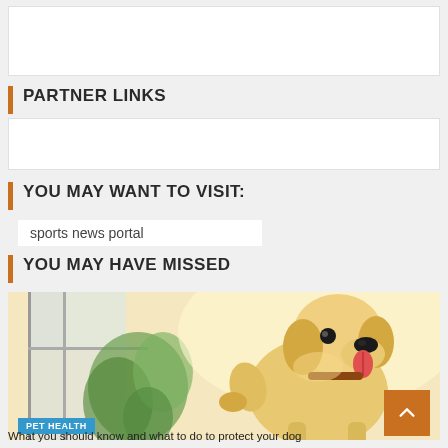[Figure (other): White rectangular advertisement placeholder box at top of page]
PARTNER LINKS
[Figure (other): White rectangular advertisement placeholder box for partner links]
YOU MAY WANT TO VISIT:
sports news portal
YOU MAY HAVE MISSED
[Figure (photo): Photo of a golden retriever dog standing on hind legs at a window, tongue out, with plants visible in background]
PET HEALTH
What you should know and what to do to protect your dog